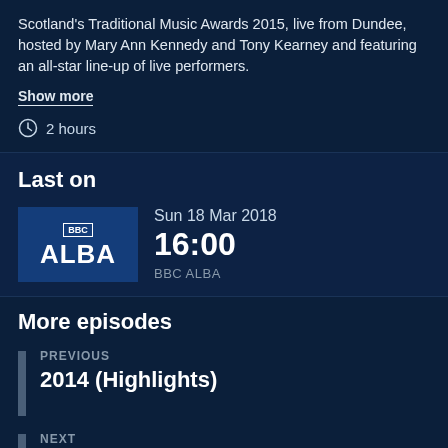Scotland's Traditional Music Awards 2015, live from Dundee, hosted by Mary Ann Kennedy and Tony Kearney and featuring an all-star line-up of live performers.
Show more
2 hours
Last on
[Figure (logo): BBC ALBA logo — dark blue rectangle with BBC dots and ALBA text]
Sun 18 Mar 2018
16:00
BBC ALBA
More episodes
PREVIOUS
2014 (Highlights)
NEXT
2015 Roghainn/Highlights